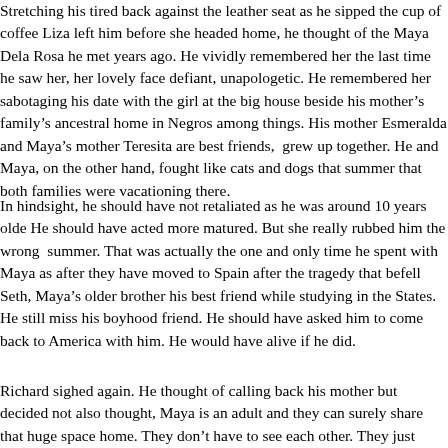Stretching his tired back against the leather seat as he sipped the cup of coffee Liza left him before she headed home, he thought of the Maya Dela Rosa he met years ago. He vividly remembered her the last time he saw her, her lovely face defiant, unapologetic. He remembered her sabotaging his date with the girl at the big house beside his mother's family's ancestral home in Negros among things. His mother Esmeralda and Maya's mother Teresita are best friends, grew up together. He and Maya, on the other hand, fought like cats and dogs that summer that both families were vacationing there.
In hindsight, he should have not retaliated as he was around 10 years older. He should have acted more matured. But she really rubbed him the wrong summer. That was actually the one and only time he spent with Maya as after they have moved to Spain after the tragedy that befell Seth, Maya's older brother his best friend while studying in the States. He still miss his boyhood friend. He should have asked him to come back to America with him. He would have been alive if he did.
Richard sighed again. He thought of calling back his mother but decided not also thought, Maya is an adult and they can surely share that huge space home. They don't have to see each other. They just needed to share the